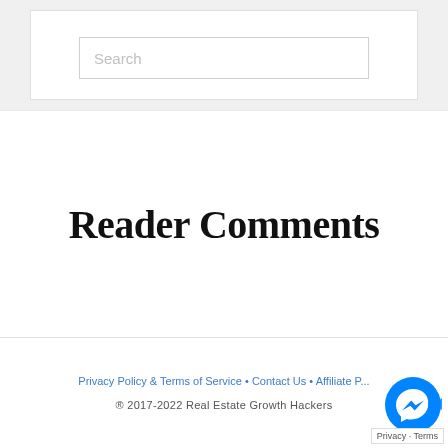[Figure (screenshot): Search input box with placeholder text 'Search']
Reader Comments
Privacy Policy & Terms of Service • Contact Us • Affiliate P... ® 2017-2022 Real Estate Growth Hackers